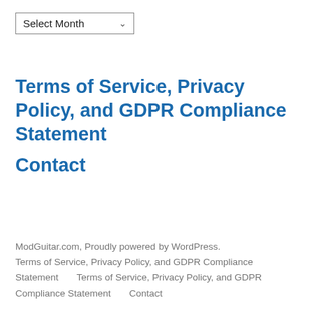Select Month
Terms of Service, Privacy Policy, and GDPR Compliance Statement
Contact
ModGuitar.com, Proudly powered by WordPress. Terms of Service, Privacy Policy, and GDPR Compliance Statement       Terms of Service, Privacy Policy, and GDPR Compliance Statement       Contact